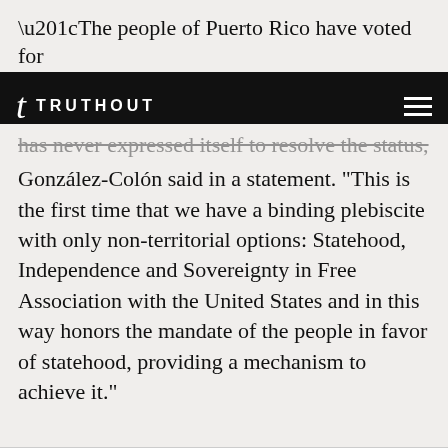“The people of Puerto Rico have voted for
TRUTHOUT
has never expressed itself to resolve the status, González-Colón said in a statement. “This is the first time that we have a binding plebiscite with only non-territorial options: Statehood, Independence and Sovereignty in Free Association with the United States and in this way honors the mandate of the people in favor of statehood, providing a mechanism to achieve it.”